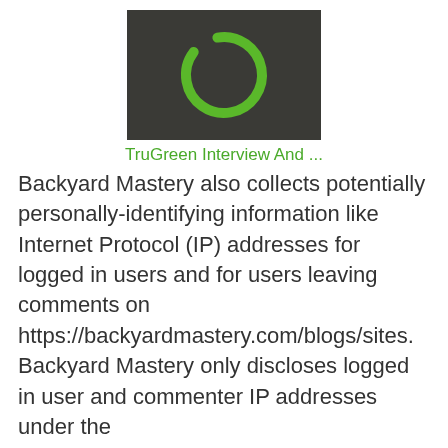[Figure (screenshot): Dark gray/charcoal background with a green circular loading/refresh icon in the center]
TruGreen Interview And ...
Backyard Mastery also collects potentially personally-identifying information like Internet Protocol (IP) addresses for logged in users and for users leaving comments on https://backyardmastery.com/blogs/sites. Backyard Mastery only discloses logged in user and commenter IP addresses under the